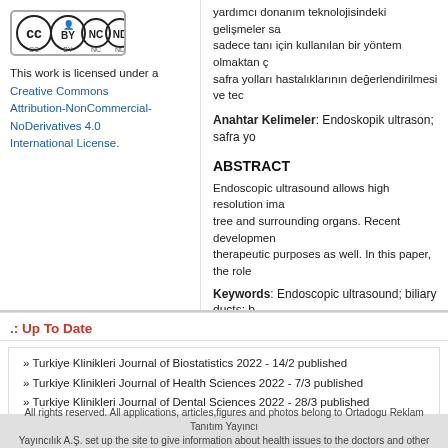yardımcı donanım teknolojisindeki gelişmeler sa... sadece tanı için kullanılan bir yöntem olmaktan ç... safra yolları hastalıklarının değerlendirilmesi ve ted...
[Figure (logo): Creative Commons BY NC ND license logo]
This work is licensed under a
Creative Commons Attribution-NonCommercial-NoDerivatives 4.0 International License.
Anahtar Kelimeler: Endoskopik ultrason; safra yo...
ABSTRACT
Endoscopic ultrasound allows high resolution ima... tree and surrounding organs. Recent developmen... therapeutic purposes as well. In this paper, the role...
Keywords: Endoscopic ultrasound; biliary ducts; b...
.: Up To Date
» Turkiye Klinikleri Journal of Biostatistics 2022 - 14/2 published
» Turkiye Klinikleri Journal of Health Sciences 2022 - 7/3 published
» Turkiye Klinikleri Journal of Dental Sciences 2022 - 28/3 published
» Sezaryen 2022 - / published
» Anesteziyoloji ve Ameliyathanede Organizasyon , Yönetim ve Eğitim 2022 - / publish...
All rights reserved. All applications, articles,figures and photos belong to Ortadogu Reklam Tanıtım Yayıncı... Yayıncılık A.Ş. set up the site to give information about health issues to the doctors and other users. The users a... when they a...